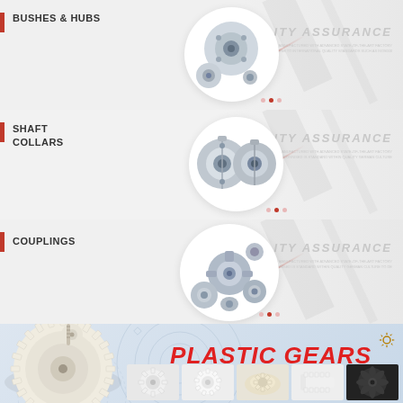BUSHES & HUBS
QUALITY ASSURANCE
[Figure (photo): Metal bushes and hubs components grouped together on white circular background]
SHAFT COLLARS
QUALITY ASSURANCE
[Figure (photo): Metal shaft collars components on white circular background]
COUPLINGS
QUALITY ASSURANCE
[Figure (photo): Metal couplings components on white circular background]
PLASTIC GEARS
[Figure (photo): Large plastic gear wheel component, main product image]
[Figure (photo): Five thumbnail images of various plastic gears and components at bottom of page]